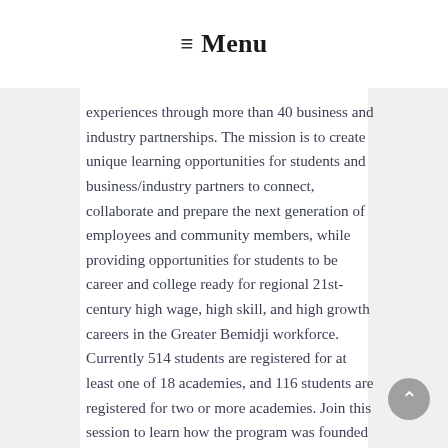☰ Menu
experiences through more than 40 business and industry partnerships. The mission is to create unique learning opportunities for students and business/industry partners to connect, collaborate and prepare the next generation of employees and community members, while providing opportunities for students to be career and college ready for regional 21st-century high wage, high skill, and high growth careers in the Greater Bemidji workforce. Currently 514 students are registered for at least one of 18 academies, and 116 students are registered for two or more academies. Join this session to learn how the program was founded and how to create a pipeline of qualified young employees to enter your